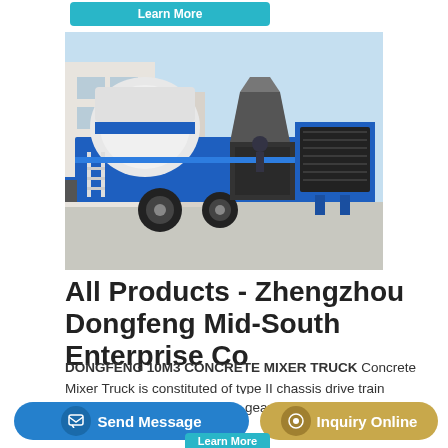[Figure (photo): Blue and white concrete mixer pump truck parked on a paved surface in an industrial/warehouse setting. The machine is a wheeled trailer-type unit with mixing drum, hopper, and radiator/engine compartment.]
All Products - Zhengzhou Dongfeng Mid-South Enterprise Co
DONGFENG 10M3 CONCRETE MIXER TRUCK Concrete Mixer Truck is constituted of type II chassis drive train hydraulic system rack agitator tank input and output device water supplying system control system ladder etc The front end of agitator tank is fixed in the foreground of rack and gear